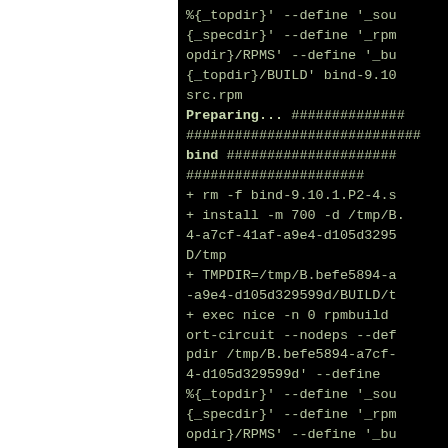[Figure (screenshot): Terminal/console output showing RPM build commands and progress output including 'Preparing...', 'bind', and build steps with rpmbuild exec commands and TMPDIR settings.]